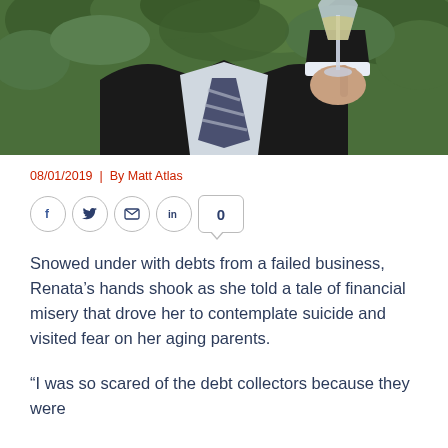[Figure (photo): A man in a dark suit and striped tie holding a champagne glass up, photographed against green leafy background]
08/01/2019 | By Matt Atlas
[Figure (infographic): Social sharing icons: Facebook, Twitter, Email, LinkedIn, and a share count showing 0]
Snowed under with debts from a failed business, Renata's hands shook as she told a tale of financial misery that drove her to contemplate suicide and visited fear on her aging parents.
"I was so scared of the debt collectors because they were